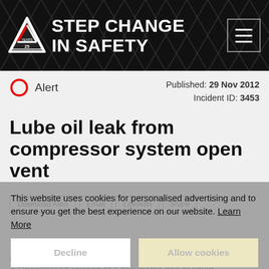[Figure (logo): Step Change in Safety logo with triangle icon and hamburger menu button on dark geometric background]
Alert  Published: 29 Nov 2012  Incident ID: 3453
Lube oil leak from compressor system open vent
This website uses cookies for personalised advertising and to ensure you get the best experience on our website. Learn More
CAUSE & CONSEQUENCE
Uncontrolled release of a flammable gas or liquid